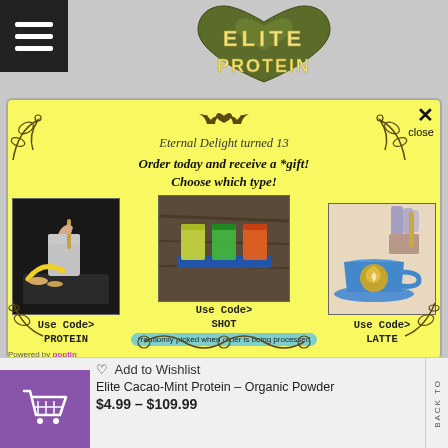[Figure (logo): Elite Protein logo with olive-green heart shape and bold text ELITE PROTEIN]
[Figure (infographic): Yellow popup modal for Eternal Delight turned 13 promotion. Shows three drink images: protein shake, three shot glasses with colorful juices, and a latte in a blue cup. Use codes PROTEIN, SHOT, LATTE for a free gift. Randomly picked when order is being processed.]
♡ Add to Wishlist
Elite Cacao-Mint Protein – Organic Powder
$4.99 – $109.99